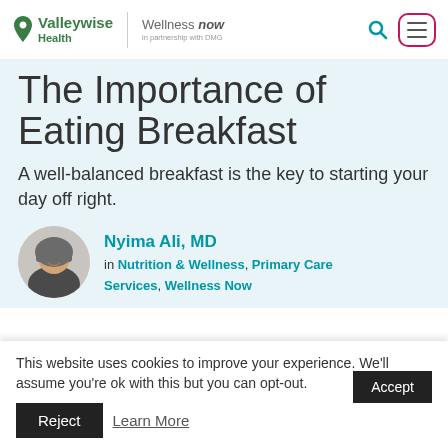Valleywise Health | Wellness NOW in partnership with DMG
The Importance of Eating Breakfast
A well-balanced breakfast is the key to starting your day off right.
Nyima Ali, MD in Nutrition & Wellness, Primary Care Services, Wellness Now
This website uses cookies to improve your experience. We'll assume you're ok with this but you can opt-out. Accept Reject Learn More